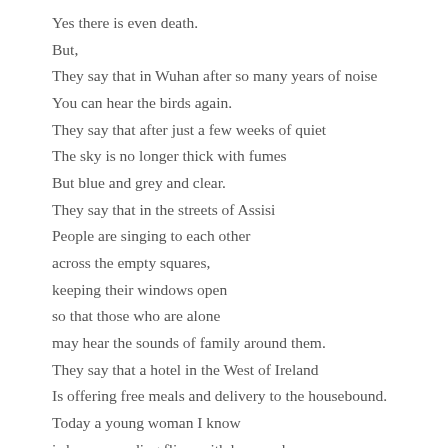Yes there is even death.
But,
They say that in Wuhan after so many years of noise
You can hear the birds again.
They say that after just a few weeks of quiet
The sky is no longer thick with fumes
But blue and grey and clear.
They say that in the streets of Assisi
People are singing to each other
across the empty squares,
keeping their windows open
so that those who are alone
may hear the sounds of family around them.
They say that a hotel in the West of Ireland
Is offering free meals and delivery to the housebound.
Today a young woman I know
is busy spreading fliers with her number
they call them neighbors down...